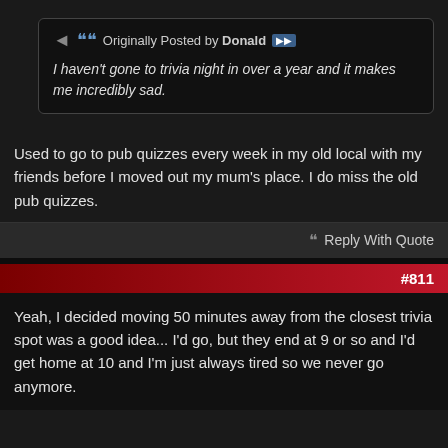Originally Posted by Donald
I haven't gone to trivia night in over a year and it makes me incredibly sad.
Used to go to pub quizzes every week in my old local with my friends before I moved out my mum's place. I do miss the old pub quizzes.
Reply With Quote
#811
Yeah, I decided moving 50 minutes away from the closest trivia spot was a good idea... I'd go, but they end at 9 or so and I'd get home at 10 and I'm just always tired so we never go anymore.